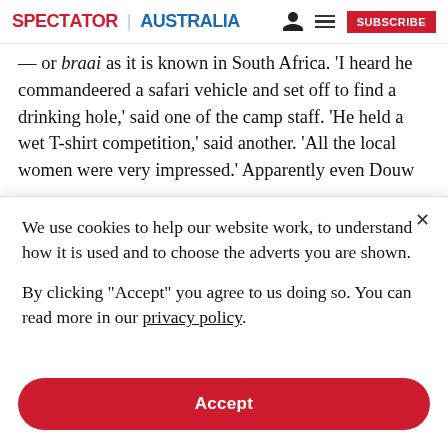SPECTATOR | AUSTRALIA
— or braai as it is known in South Africa. 'I heard he commandeered a safari vehicle and set off to find a drinking hole,' said one of the camp staff. 'He held a wet T-shirt competition,' said another. 'All the local women were very impressed.' Apparently even Douw
We use cookies to help our website work, to understand how it is used and to choose the adverts you are shown.
By clicking "Accept" you agree to us doing so. You can read more in our privacy policy.
Accept